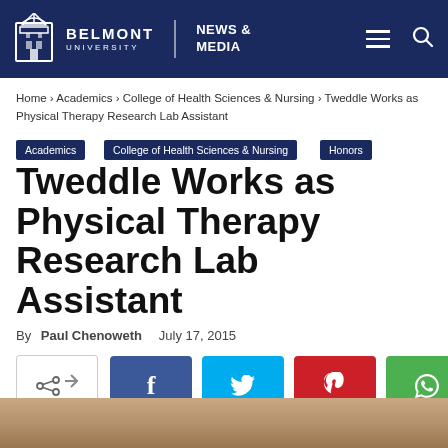Belmont University | News & Media
Home › Academics › College of Health Sciences & Nursing › Tweddle Works as Physical Therapy Research Lab Assistant
Academics
College of Health Sciences & Nursing
Honors
Tweddle Works as Physical Therapy Research Lab Assistant
By Paul Chenoweth   July 17, 2015
[Figure (infographic): Social share buttons: native share, Facebook, Twitter, Pinterest, WhatsApp]
[Figure (photo): Partial photo of a person, showing legs/lower body on a tiled floor]